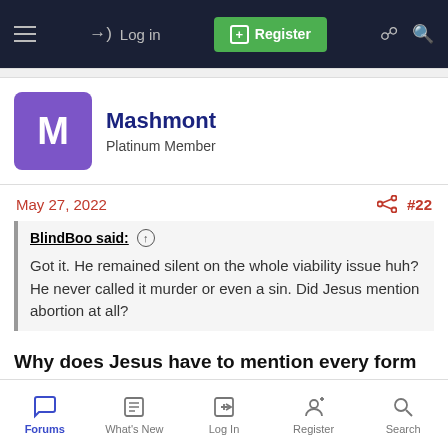Log in  Register
Mashmont
Platinum Member
May 27, 2022  #22
BlindBoo said: ↑
Got it. He remained silent on the whole viability issue huh? He never called it murder or even a sin. Did Jesus mention abortion at all?
Why does Jesus have to mention every form of murder?
Forums  What's New  Log In  Register  Search